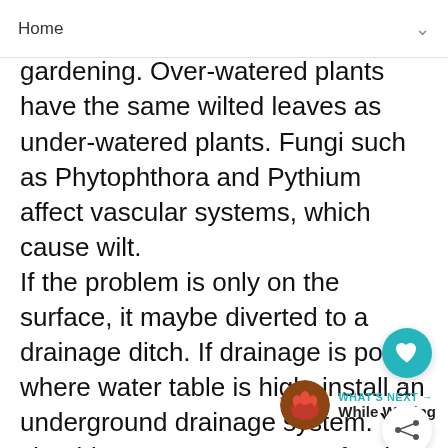Home
be gardening. Over-watered plants have the same wilted leaves as under-watered plants. Fungi such as Phytophthora and Pythium affect vascular systems, which cause wilt.
If the problem is only on the surface, it maybe diverted to a drainage ditch. If drainage is poor where water table is high, install an underground drainage system. You should contact a contractor for this. If underground drains already exist, check to see if they are blocked.
[Figure (other): Heart/like button (teal circle with heart icon) with count of 1, and a share button below it]
[Figure (photo): Thumbnail circular photo of pink flowers for 'What's Next - While Waiting' section]
WHAT'S NEXT → While Waiting